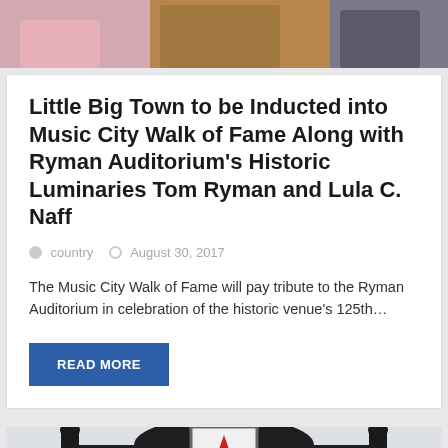[Figure (photo): Top portion of a photo showing people, partially cropped]
Little Big Town to be Inducted into Music City Walk of Fame Along with Ryman Auditorium's Historic Luminaries Tom Ryman and Lula C. Naff
country   August 30, 2017
The Music City Walk of Fame will pay tribute to the Ryman Auditorium in celebration of the historic venue's 125th…
READ MORE
[Figure (photo): Music City Walk of Fame sign with red star logo and text 'MUSIC CITY']